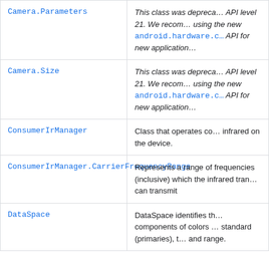| Class | Description |
| --- | --- |
| Camera.Parameters | This class was deprecated in API level 21. We recommend using the new android.hardware.c… API for new application… |
| Camera.Size | This class was deprecated in API level 21. We recommend using the new android.hardware.c… API for new application… |
| ConsumerIrManager | Class that operates co… infrared on the device. |
| ConsumerIrManager.CarrierFrequencyRange | Represents a range of frequencies (inclusive) which the infrared tran… can transmit |
| DataSpace | DataSpace identifies th… components of colors … standard (primaries), t… and range. |